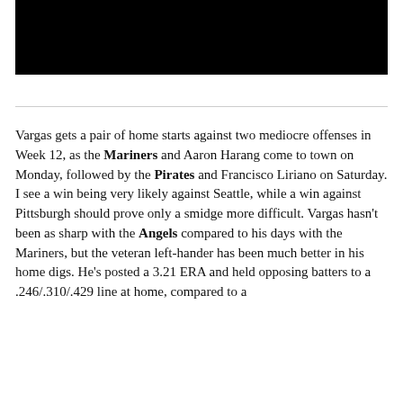[Figure (photo): Black image block at top of page]
Vargas gets a pair of home starts against two mediocre offenses in Week 12, as the Mariners and Aaron Harang come to town on Monday, followed by the Pirates and Francisco Liriano on Saturday. I see a win being very likely against Seattle, while a win against Pittsburgh should prove only a smidge more difficult. Vargas hasn't been as sharp with the Angels compared to his days with the Mariners, but the veteran left-hander has been much better in his home digs. He's posted a 3.21 ERA and held opposing batters to a .246/.310/.429 line at home, compared to a